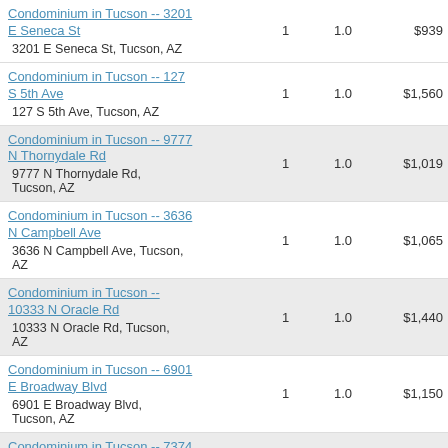Condominium in Tucson -- 3201 E Seneca St
3201 E Seneca St, Tucson, AZ | 1 | 1.0 | $939
Condominium in Tucson -- 127 S 5th Ave
127 S 5th Ave, Tucson, AZ | 1 | 1.0 | $1,560
Condominium in Tucson -- 9777 N Thornydale Rd
9777 N Thornydale Rd, Tucson, AZ | 1 | 1.0 | $1,019
Condominium in Tucson -- 3636 N Campbell Ave
3636 N Campbell Ave, Tucson, AZ | 1 | 1.0 | $1,065
Condominium in Tucson -- 10333 N Oracle Rd
10333 N Oracle Rd, Tucson, AZ | 1 | 1.0 | $1,440
Condominium in Tucson -- 6901 E Broadway Blvd
6901 E Broadway Blvd, Tucson, AZ | 1 | 1.0 | $1,150
Condominium in Tucson -- 7374 N Mona Lisa Rd
7374 N Mona Lisa Rd, Tucson, AZ | 1 | 1.0 | $1,295